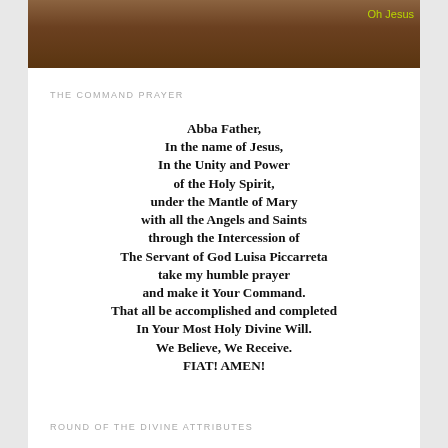[Figure (photo): Partial photo of a wooden-paneled room interior, appears to be a church or chapel, with text overlay 'Oh Jesus' in yellow-green]
THE COMMAND PRAYER
Abba Father,
In the name of Jesus,
In the Unity and Power
of the Holy Spirit,
under the Mantle of Mary
with all the Angels and Saints
through the Intercession of
The Servant of God Luisa Piccarreta
take my humble prayer
and make it Your Command.
That all be accomplished and completed
In Your Most Holy Divine Will.
We Believe, We Receive.
FIAT! AMEN!
ROUND OF THE DIVINE ATTRIBUTES